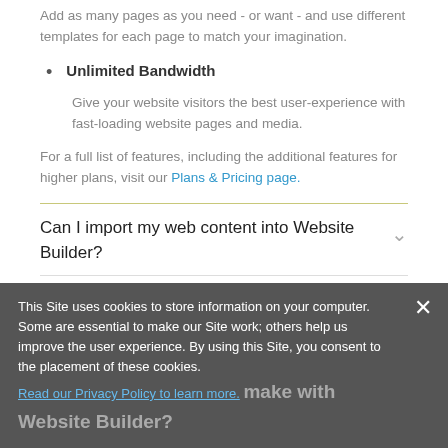Add as many pages as you need - or want - and use different templates for each page to match your imagination.
Unlimited Bandwidth
Give your website visitors the best user-experience with fast-loading website pages and media.
For a full list of features, including the additional features for higher plans, visit our Plans & Pricing page.
Can I import my web content into Website Builder?
This Site uses cookies to store information on your computer. Some are essential to make our Site work; others help us improve the user experience. By using this Site, you consent to the placement of these cookies. Read our Privacy Policy to learn more.